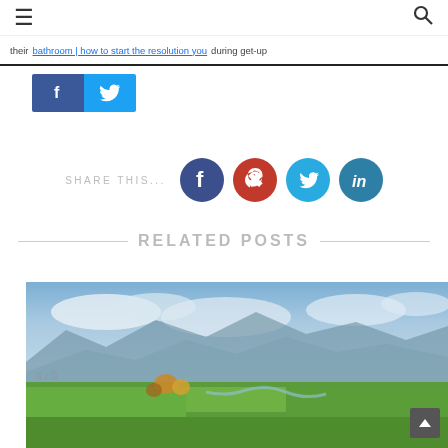☰  [navigation menu] [search icon]
[link text underlined] during get-up
[Figure (infographic): Facebook and Twitter share buttons (blue rectangles with f and bird icons)]
SHARE THIS...
[Figure (infographic): Social share icons: Facebook (dark blue circle), Pinterest (red circle), Twitter (light blue circle), LinkedIn (dark teal circle)]
RELATED POSTS
[Figure (photo): Aerial landscape photo showing green fields, a river valley, mountains in the background, and a partly cloudy sky]